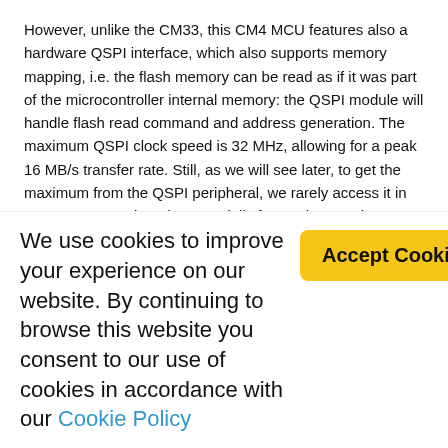However, unlike the CM33, this CM4 MCU features also a hardware QSPI interface, which also supports memory mapping, i.e. the flash memory can be read as if it was part of the microcontroller internal memory: the QSPI module will handle flash read command and address generation. The maximum QSPI clock speed is 32 MHz, allowing for a peak 16 MB/s transfer rate. Still, as we will see later, to get the maximum from the QSPI peripheral, we rarely access it in memory-mapped mode, especially for random read operations.
In terms of RAM, the nRF52840 has almost 2.5 times the RAM we had in the previous project (a quarter of MB, instead of less than a ninth). The now available much larger RAM allows us to use a much higher resolution display, without having to worry too much about the...
We use cookies to improve your experience on our website. By continuing to browse this website you consent to our use of cookies in accordance with our Cookie Policy